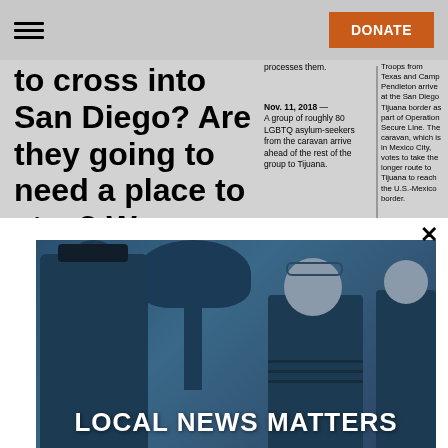DONATE
to cross into San Diego? Are they going to need a place to stay? We
processes them.
Nov. 11, 2018
A group of roughly 80 LGBTQ asylum-seekers from the caravan arrive ahead of the rest of the group to Tijuana.
Troops from Texas and Camp Pendleton arrive at the San Diego Tijuana border as part of Operation Secure Line. The caravan, which is in Mexico City, votes to take the longer route to Tijuana to reach the U.S.-Mexico border.
[Figure (photo): Two people talking outdoors near a tree, with a blue tint overlay. A person in a cap is seen from behind on the left, and a woman with glasses on her head faces them on the right.]
LOCAL NEWS MATTERS